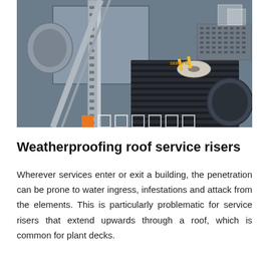[Figure (photo): Aerial/overhead view of rooftop service risers and ductwork, showing metal conduits, perforated cable trays, bundled cables/pipes, and a roll of tape or sealant material on a metal grating surface. Navigation dots are visible at the bottom of the image, with the first dot highlighted in orange.]
Weatherproofing roof service risers
Wherever services enter or exit a building, the penetration can be prone to water ingress, infestations and attack from the elements. This is particularly problematic for service risers that extend upwards through a roof, which is common for plant decks.